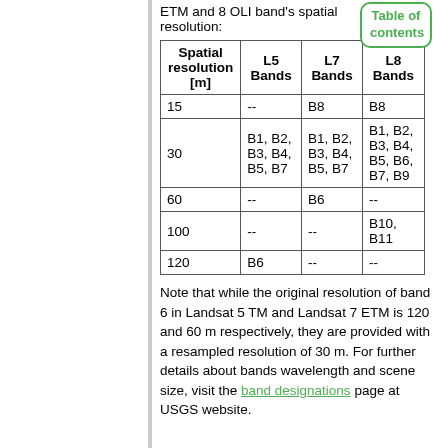ETM and 8 OLI band's spatial resolution:
| Spatial resolution [m] | L5 Bands | L7 Bands | L8 Bands |
| --- | --- | --- | --- |
| 15 | -- | B8 | B8 |
| 30 | B1, B2, B3, B4, B5, B7 | B1, B2, B3, B4, B5, B7 | B1, B2, B3, B4, B5, B6, B7, B9 |
| 60 | -- | B6 | -- |
| 100 | -- | -- | B10, B11 |
| 120 | B6 | -- | -- |
Note that while the original resolution of band 6 in Landsat 5 TM and Landsat 7 ETM is 120 and 60 m respectively, they are provided with a resampled resolution of 30 m. For further details about bands wavelength and scene size, visit the band designations page at USGS website.